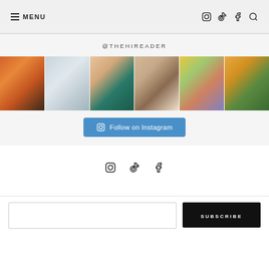≡ MENU
@THEHIREADER
[Figure (photo): Grid of 6 Instagram photos: bookstore shelves, living room with couch, hands reading open book on teal table, dried flowers vase with globe, stack of colorful books, books with cactus]
Follow on Instagram
[Figure (infographic): Social media icons: Instagram, TikTok, Facebook]
SUBSCRIBE